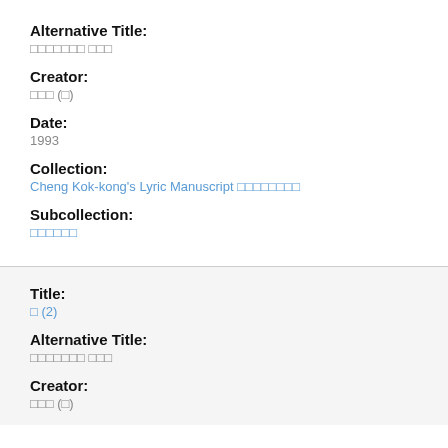Alternative Title:
󿿾󿿾󿿾󿿾󿿾󿿾󿿾 󿿾󿿾󿿾
Creator:
󿿾󿿾󿿾 (󿿾)
Date:
1993
Collection:
Cheng Kok-kong's Lyric Manuscript 󿿾󿿾󿿾󿿾󿿾󿿾󿿾󿿾
Subcollection:
󿿾󿿾󿿾󿿾󿿾󿿾
Title:
󿿾 (2)
Alternative Title:
󿿾󿿾󿿾󿿾󿿾󿿾󿿾 󿿾󿿾󿿾
Creator:
󿿾󿿾󿿾 (󿿾)